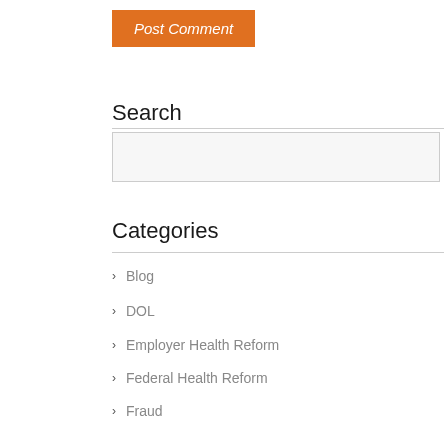Post Comment
Search
Categories
Blog
DOL
Employer Health Reform
Federal Health Reform
Fraud
Health Care Court Cases
Class Action Lawsuits
Supreme Court
The N...